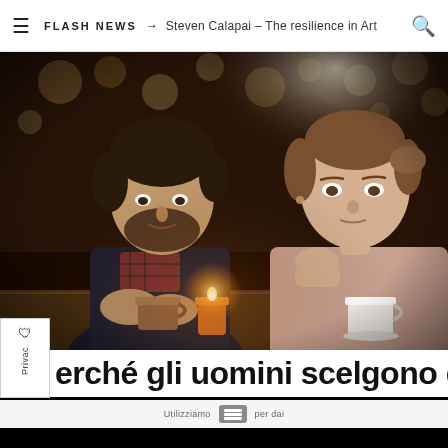FLASH NEWS → Steven Calapai – The resilience in Art
[Figure (photo): A man and woman sitting at a table in a dimly lit cafe/restaurant. The man on the left has dark hair and a beard, wearing a dark jacket with a plaid scarf, holding a cup. The woman on the right has light brown hair pulled back, wearing a nude/beige long-sleeve top, resting her chin on her hand looking bored or tired. A glowing orange candle and a white mug are on the table. Bokeh lights visible in the background.]
erché gli uomini scelgono di
Utilizziamo cookie per ... (cookie consent bar)